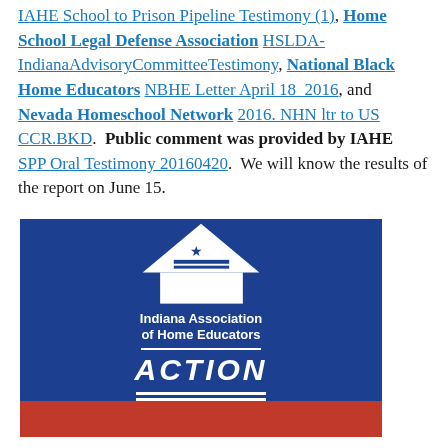IAHE School to Prison Pipeline Testimony (1), Home School Legal Defense Association HSLDA-IndianaAdvisoryCommitteeTestimony, National Black Home Educators NBHE Letter April 18_2016, and Nevada Homeschool Network 2016. NHN ltr to US CCR.BKD.  Public comment was provided by IAHE  SPP Oral Testimony 20160420.  We will know the results of the report on June 15.
[Figure (logo): Indiana Association of Home Educators ACTION logo — blue background with white house/roof icon with star and horizontal lines, text 'Indiana Association of Home Educators' and 'ACTION' in bold italic white letters, red bar at bottom.]